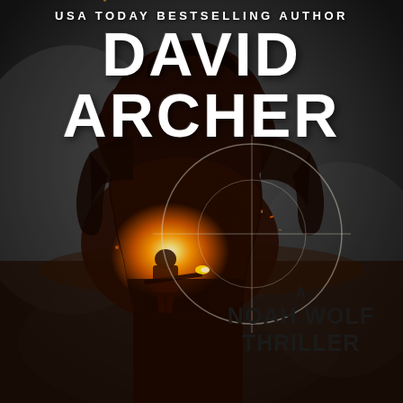[Figure (illustration): Book cover for a David Archer Noah Wolf Thriller. Dark dramatic background with smoky grey tones. A large silhouette of a man seen from behind fills the center, with an internal double-exposure showing a gunman firing a rifle toward a large fiery explosion in a field. A sniper scope crosshair circle is overlaid on the right side. The cover includes text: 'USA TODAY BESTSELLING AUTHOR' at top, 'DAVID ARCHER' in large white letters, and 'A NOAH WOLF THRILLER' in dark text at lower right.]